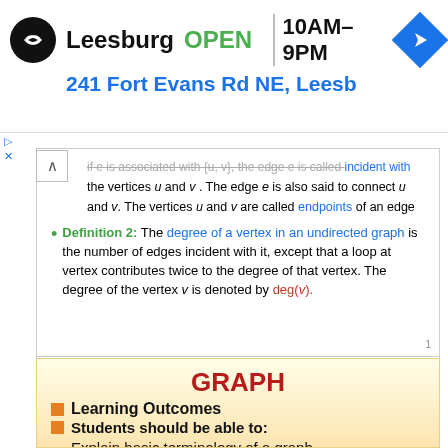[Figure (other): Advertisement banner: Leesburg OPEN 10AM-9PM, 241 Fort Evans Rd NE, Leesb, with logo and navigation icon]
if e is associated with {u, v}, the edge e is called incident with the vertices u and v. The edge e is also said to connect u and v. The vertices u and v are called endpoints of an edge associated with {u, v}.
Definition 2: The degree of a vertex in an undirected graph is the number of edges incident with it, except that a loop at vertex contributes twice to the degree of that vertex. The degree of the vertex v is denoted by deg(v).
GRAPH
Learning Outcomes
Students should be able to:
Explain basic terminology of a graph
Identify Euler and Hamiltonian cycle